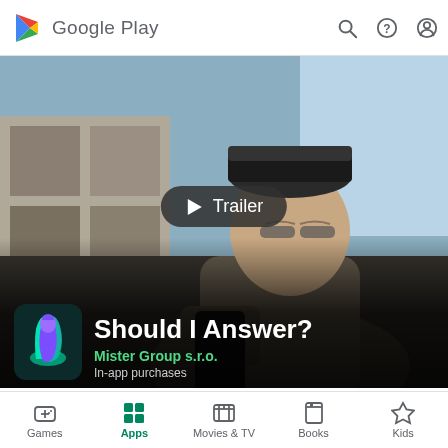Google Play
[Figure (screenshot): Google Play Store app page for 'Should I Answer?' showing a video trailer thumbnail of a person looking at a phone, with app title, developer name 'Mister Group s.r.o.', and In-app purchases label overlaid at the bottom]
Should I Answer?
Mister Group s.r.o.
In-app purchases
4.4★   1M+   E
Games  Apps  Movies & TV  Books  Kids